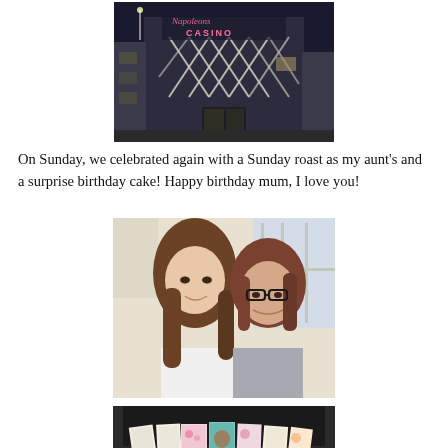[Figure (photo): Night-time exterior photo of a casino building with neon sign reading 'CASINO' and diamond-pattern light decorations on the facade]
On Sunday, we celebrated again with a Sunday roast as my aunt's and a surprise birthday cake! Happy birthday mum, I love you!
[Figure (photo): Selfie of two women smiling together indoors — a younger woman with long brown hair and an older woman with short brown hair wearing glasses]
[Figure (photo): Collection of birthday greeting cards displayed upright on a wooden surface in front of a dark background]